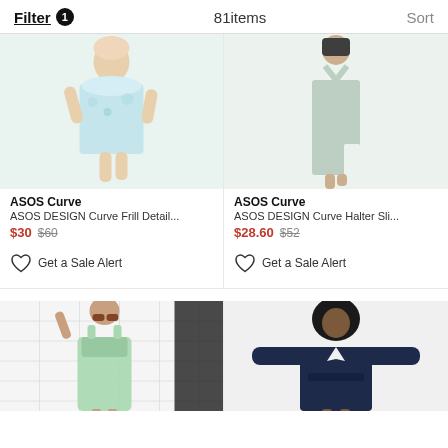Filter 1   81items   Sort
[Figure (photo): Model wearing ASOS Curve blue floral print mini dress]
ASOS Curve
ASOS DESIGN Curve Frill Detail...
$30 $60
Get a Sale Alert
[Figure (photo): Model wearing ASOS Curve sage green halter slit midi dress]
ASOS Curve
ASOS DESIGN Curve Halter Sli...
$28.60 $52
Get a Sale Alert
[Figure (photo): Model wearing mint green ASOS Curve babydoll dress with sunglasses]
[Figure (photo): Model wearing navy blue ASOS Curve wide sleeve wrap dress]